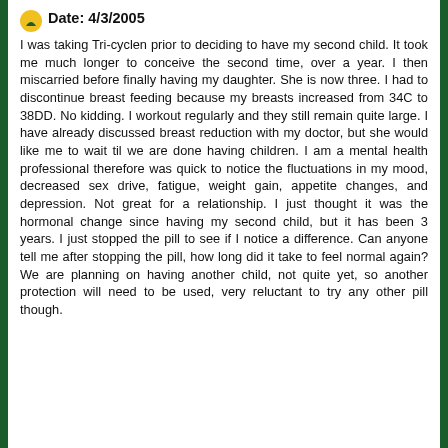Date: 4/3/2005
I was taking Tri-cyclen prior to deciding to have my second child. It took me much longer to conceive the second time, over a year. I then miscarried before finally having my daughter. She is now three. I had to discontinue breast feeding because my breasts increased from 34C to 38DD. No kidding. I workout regularly and they still remain quite large. I have already discussed breast reduction with my doctor, but she would like me to wait til we are done having children. I am a mental health professional therefore was quick to notice the fluctuations in my mood, decreased sex drive, fatigue, weight gain, appetite changes, and depression. Not great for a relationship. I just thought it was the hormonal change since having my second child, but it has been 3 years. I just stopped the pill to see if I notice a difference. Can anyone tell me after stopping the pill, how long did it take to feel normal again? We are planning on having another child, not quite yet, so another protection will need to be used, very reluctant to try any other pill though.